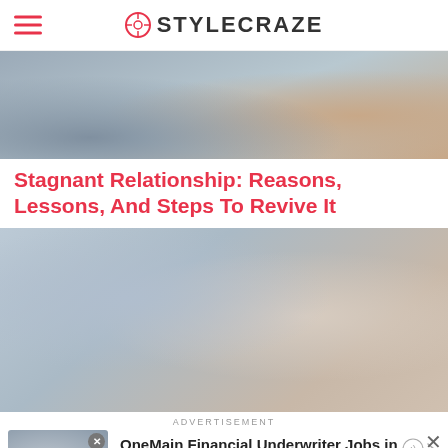STYLECRAZE
[Figure (photo): Partial view of people sitting on a couch, top portion cropped]
Stagnant Relationship: Reasons, Lessons, And Steps To Revive It
[Figure (photo): A woman and a man appear to be in an argument, the woman holding her hand to her head and the man gesturing with his hand]
ADVERTISEMENT
[Figure (photo): Advertisement thumbnail showing people in an office setting, labeled Sponsored]
OneMain Financial Underwriter Jobs in Ashbur... jobble.com